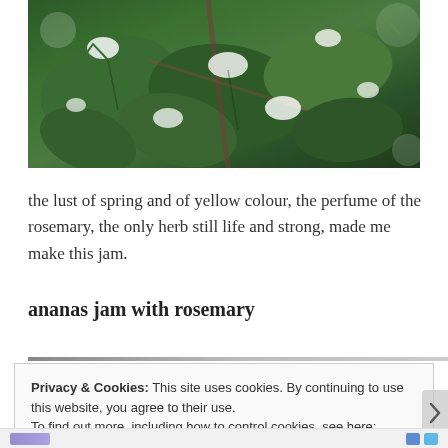[Figure (photo): Close-up photo of dark green leaves with spiky edges dusted with white snow or frost, on a plant that appears to be a holly or similar shrub]
the lust of spring and of yellow colour, the perfume of the rosemary, the only herb still life and strong, made me make this jam.
ananas jam with rosemary
Privacy & Cookies: This site uses cookies. By continuing to use this website, you agree to their use.
To find out more, including how to control cookies, see here: Cookie Policy
Close and accept